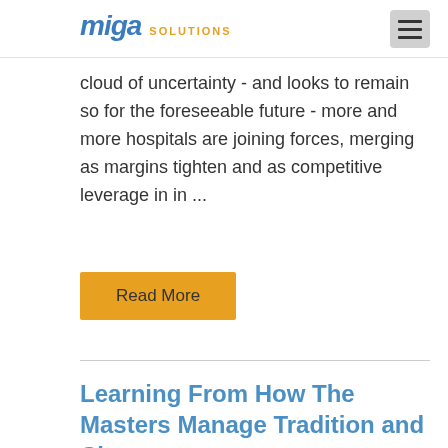miga SOLUTIONS
cloud of uncertainty - and looks to remain so for the foreseeable future - more and more hospitals are joining forces, merging as margins tighten and as competitive leverage in in ...
Read More
Learning From How The Masters Manage Tradition and Change